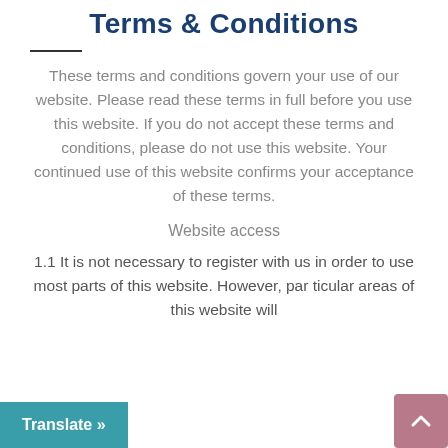Terms & Conditions
These terms and conditions govern your use of our website. Please read these terms in full before you use this website. If you do not accept these terms and conditions, please do not use this website. Your continued use of this website confirms your acceptance of these terms.
Website access
1.1 It is not necessary to register with us in order to use most parts of this website. However, particular areas of this website will